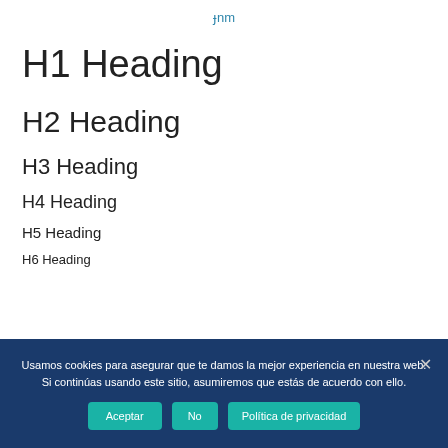ɟnm
H1 Heading
H2 Heading
H3 Heading
H4 Heading
H5 Heading
H6 Heading
Usamos cookies para asegurar que te damos la mejor experiencia en nuestra web. Si continúas usando este sitio, asumiremos que estás de acuerdo con ello.